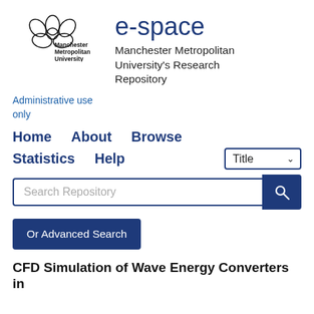[Figure (logo): Manchester Metropolitan University logo with stylized flower/crown icon and text 'Manchester Metropolitan University']
e-space
Manchester Metropolitan University's Research Repository
Administrative use only
Home   About   Browse   Statistics   Help
Search Repository
Or Advanced Search
CFD Simulation of Wave Energy Converters in